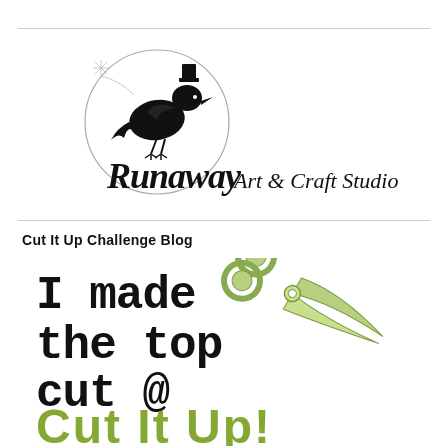[Figure (logo): Runaway Art & Craft Studio logo featuring a crow/raven wearing a top hat inside a circle, with stylized text 'Runaway Art & Craft Studio']
Cut It Up Challenge Blog
[Figure (illustration): Badge image reading 'I made the top cut @ Cut It Up!' with illustrated scissors in green, text in black and olive green]